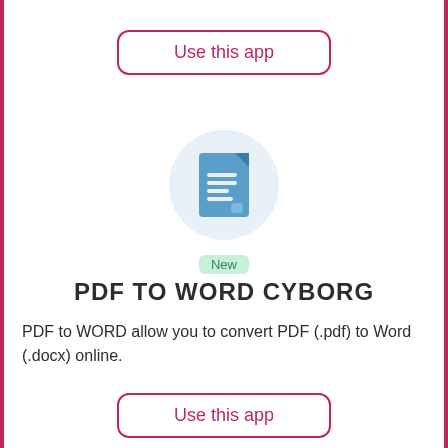[Figure (other): Button with rounded border labeled 'Use this app' in crimson/red color]
[Figure (illustration): Light blue circle containing a document/word file icon in blue tones]
New
PDF TO WORD CYBORG
PDF to WORD allow you to convert PDF (.pdf) to Word (.docx) online.
[Figure (other): Button with rounded border labeled 'Use this app' in crimson/red color]